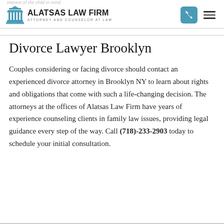ALATSAS LAW FIRM — ATTORNEY AND COUNSELOR AT LAW
Divorce Lawyer Brooklyn
Couples considering or facing divorce should contact an experienced divorce attorney in Brooklyn NY to learn about rights and obligations that come with such a life-changing decision. The attorneys at the offices of Alatsas Law Firm have years of experience counseling clients in family law issues, providing legal guidance every step of the way. Call (718)-233-2903 today to schedule your initial consultation.